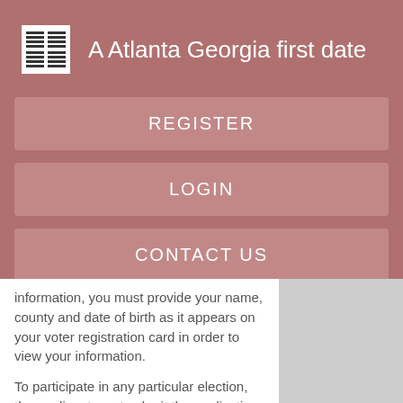A Atlanta Georgia first date
REGISTER
LOGIN
CONTACT US
information, you must provide your name, county and date of birth as it appears on your voter registration card in order to view your information.
To participate in any particular election, the applicant must submit the application prior to the